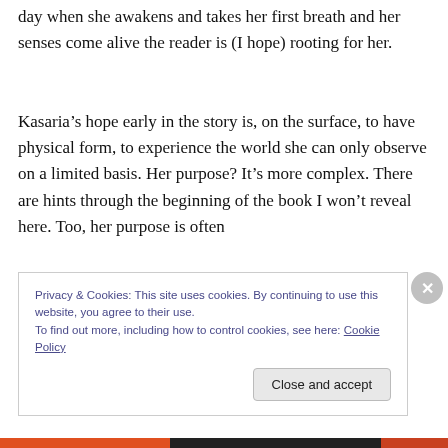day when she awakens and takes her first breath and her senses come alive the reader is (I hope) rooting for her.
Kasaria’s hope early in the story is, on the surface, to have physical form, to experience the world she can only observe on a limited basis. Her purpose? It’s more complex. There are hints through the beginning of the book I won’t reveal here. Too, her purpose is often
Privacy & Cookies: This site uses cookies. By continuing to use this website, you agree to their use.
To find out more, including how to control cookies, see here: Cookie Policy
Close and accept